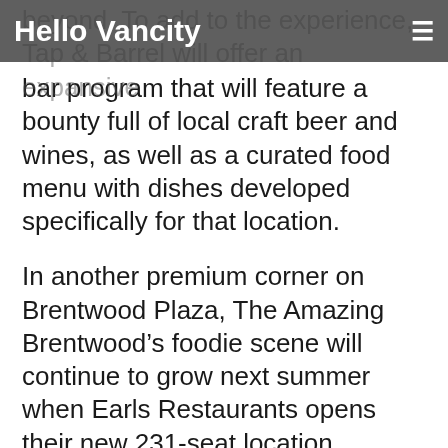Hello Vancity
bar program that will feature a bounty full of local craft beer and wines, as well as a curated food menu with dishes developed specifically for that location.
In another premium corner on Brentwood Plaza, The Amazing Brentwood’s foodie scene will continue to grow next summer when Earls Restaurants opens their new 231-seat location. Featuring a 50-seat seasonal patio, the outdoor space will be connected to the lounge by sliding glass windows.